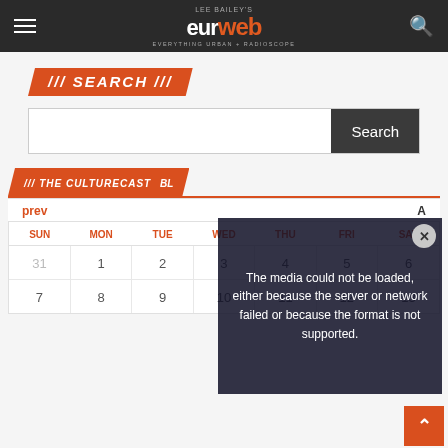Lee Bailey's eurweb - Everything Urban + Radioscope
SEARCH
Search
THE CULTURECAST ... BL...
prev
| SUN | MON | TUE | WED | THU | FRI | SAT |
| --- | --- | --- | --- | --- | --- | --- |
| 31 | 1 | 2 | 3 | 4 | 5 | 6 |
| 7 | 8 | 9 | 10 | 11 | 12 | 13 |
[Figure (screenshot): Video player error overlay: 'The media could not be loaded, either because the server or network failed or because the format is not supported.']